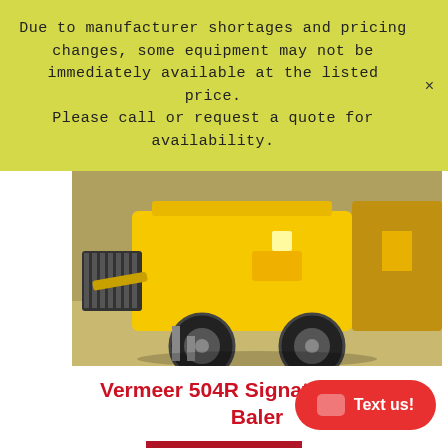Due to manufacturer shortages and pricing changes, some equipment may not be immediately available at the listed price. Please call or request a quote for availability.
[Figure (photo): Yellow Vermeer 504R Signature Round Baler agricultural equipment photographed outdoors on gravel.]
Vermeer 504R Signature Round Baler
DETAILS
Text us!